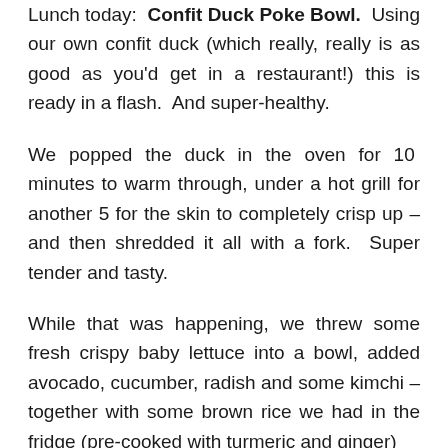Lunch today:  Confit Duck Poke Bowl.  Using our own confit duck (which really, really is as good as you'd get in a restaurant!) this is ready in a flash.  And super-healthy.
We popped the duck in the oven for 10  minutes to warm through, under a hot grill for another 5 for the skin to completely crisp up – and then shredded it all with a fork.  Super tender and tasty.
While that was happening, we threw some fresh crispy baby lettuce into a bowl, added avocado, cucumber, radish and some kimchi – together with some brown rice we had in the fridge (pre-cooked with turmeric and ginger)
We added the shredded duck to everything in the bowl